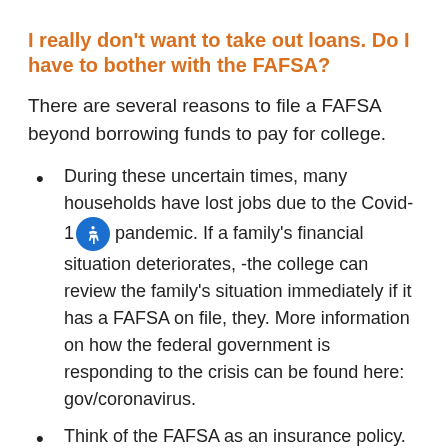I really don't want to take out loans. Do I have to bother with the FAFSA?
There are several reasons to file a FAFSA beyond borrowing funds to pay for college.
During these uncertain times, many households have lost jobs due to the Covid-19 pandemic. If a family's financial situation deteriorates, -the college can review the family's situation immediately if it has a FAFSA on file, they. More information on how the federal government is responding to the crisis can be found here: gov/coronavirus.
Think of the FAFSA as an insurance policy. It's